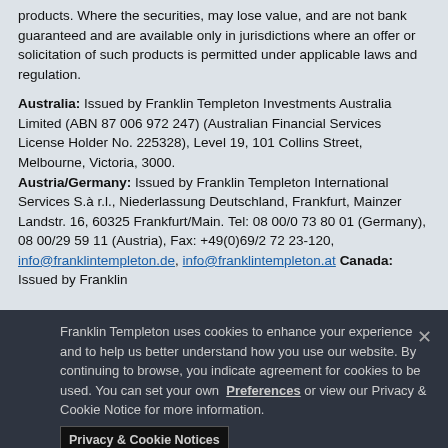products. Where the securities, may lose value, and are not bank guaranteed and are available only in jurisdictions where an offer or solicitation of such products is permitted under applicable laws and regulation.
Australia: Issued by Franklin Templeton Investments Australia Limited (ABN 87 006 972 247) (Australian Financial Services License Holder No. 225328), Level 19, 101 Collins Street, Melbourne, Victoria, 3000. Austria/Germany: Issued by Franklin Templeton International Services S.à r.l., Niederlassung Deutschland, Frankfurt, Mainzer Landstr. 16, 60325 Frankfurt/Main. Tel: 08 00/0 73 80 01 (Germany), 08 00/29 59 11 (Austria), Fax: +49(0)69/2 72 23-120, info@franklintempleton.de, info@franklintempleton.at Canada: Issued by Franklin
Franklin Templeton uses cookies to enhance your experience and to help us better understand how you use our website. By continuing to browse, you indicate agreement for cookies to be used. You can set your own Preferences or view our Privacy & Cookie Notice for more information.
Privacy & Cookie Notices